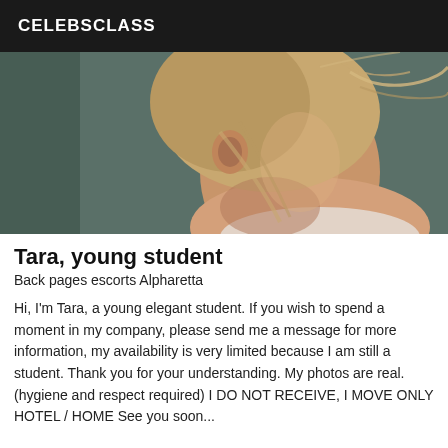CELEBSCLASS
[Figure (photo): Back view of a young woman with blonde hair tied up, showing neck and shoulder, against a dark green background.]
Tara, young student
Back pages escorts Alpharetta
Hi, I'm Tara, a young elegant student. If you wish to spend a moment in my company, please send me a message for more information, my availability is very limited because I am still a student. Thank you for your understanding. My photos are real. (hygiene and respect required) I DO NOT RECEIVE, I MOVE ONLY HOTEL / HOME See you soon...